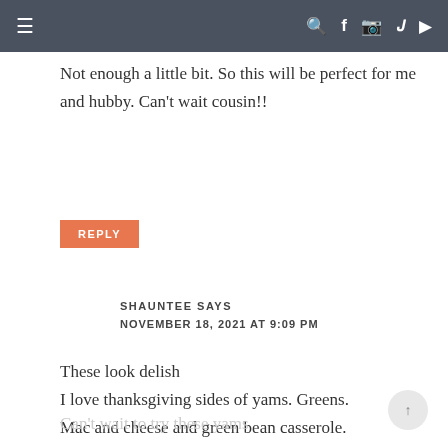≡  🔍 f 📷 Pinterest ▶
Not enough a little bit. So this will be perfect for me and hubby. Can't wait cousin!!
REPLY
SHAUNTEE SAYS
NOVEMBER 18, 2021 AT 9:09 PM
These look delish
I love thanksgiving sides of yams. Greens. Mac and cheese and green bean casserole.
Can't wait to try these yams